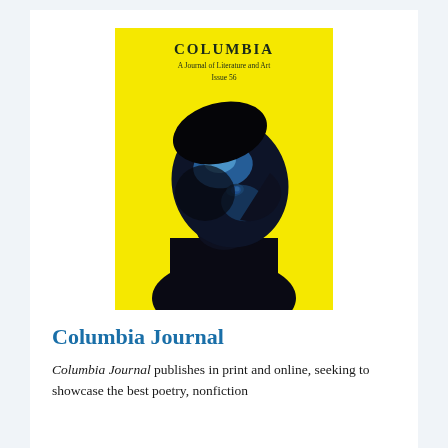[Figure (illustration): Magazine cover of Columbia Journal Issue 56 — yellow background with a blue-toned artistic photograph of a person looking upward. Text on cover reads: COLUMBIA, A Journal of Literature and Art, Issue 56.]
Columbia Journal
Columbia Journal publishes in print and online, seeking to showcase the best poetry, nonfiction